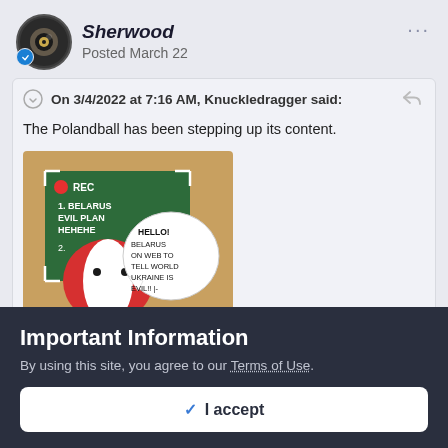Sherwood
Posted March 22
On 3/4/2022 at 7:16 AM, Knuckledragger said:
The Polandball has been stepping up its content.
[Figure (illustration): Polandball cartoon showing a Belarus-themed ball in front of a chalkboard with text 'BELARUS EVIL PLAN HEHEHE' and a speech bubble saying 'HELLO! BELARUS ON WEB TO TELL WORLD UKRAINE IS EVIL!! |-']
Expand
Important Information
By using this site, you agree to our Terms of Use.
✓  I accept